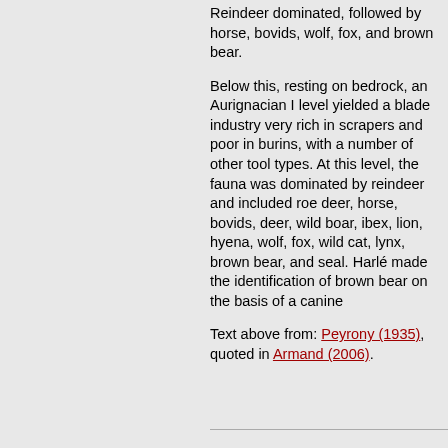Reindeer dominated, followed by horse, bovids, wolf, fox, and brown bear.
Below this, resting on bedrock, an Aurignacian I level yielded a blade industry very rich in scrapers and poor in burins, with a number of other tool types. At this level, the fauna was dominated by reindeer and included roe deer, horse, bovids, deer, wild boar, ibex, lion, hyena, wolf, fox, wild cat, lynx, brown bear, and seal. Harlé made the identification of brown bear on the basis of a canine
Text above from: Peyrony (1935), quoted in Armand (2006).